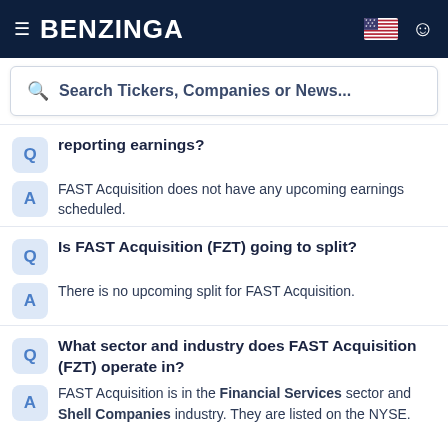BENZINGA
Search Tickers, Companies or News...
reporting earnings?
FAST Acquisition does not have any upcoming earnings scheduled.
Is FAST Acquisition (FZT) going to split?
There is no upcoming split for FAST Acquisition.
What sector and industry does FAST Acquisition (FZT) operate in?
FAST Acquisition is in the Financial Services sector and Shell Companies industry. They are listed on the NYSE.